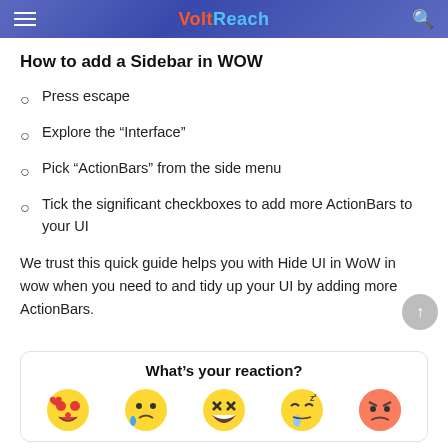VoltReach
How to add a Sidebar in WOW
Press escape
Explore the “Interface”
Pick “ActionBars” from the side menu
Tick the significant checkboxes to add more ActionBars to your UI
We trust this quick guide helps you with Hide UI in WoW in wow when you need to and tidy up your UI by adding more ActionBars.
What’s your reaction?
[Figure (illustration): Five reaction emojis: heart-eyes laugh, sad crying, laughing/LOL, sleepy drool, and angry red face]